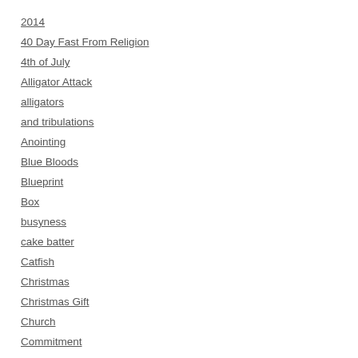2014
40 Day Fast From Religion
4th of July
Alligator Attack
alligators
and tribulations
Anointing
Blue Bloods
Blueprint
Box
busyness
cake batter
Catfish
Christmas
Christmas Gift
Church
Commitment
Conformed to the image of Christ